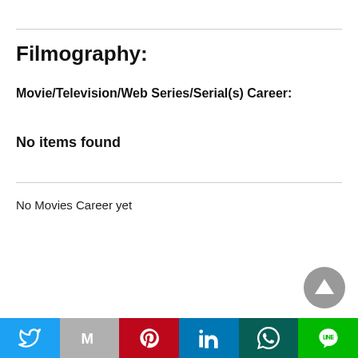Filmography:
Movie/Television/Web Series/Serial(s) Career:
No items found
No Movies Career yet
[Figure (other): Social sharing bar with icons: Twitter, Gmail/Email, Pinterest, LinkedIn, WhatsApp, LINE]